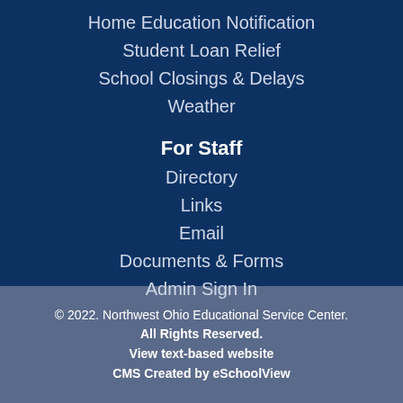Home Education Notification
Student Loan Relief
School Closings & Delays
Weather
For Staff
Directory
Links
Email
Documents & Forms
Admin Sign In
© 2022. Northwest Ohio Educational Service Center. All Rights Reserved. View text-based website CMS Created by eSchoolView